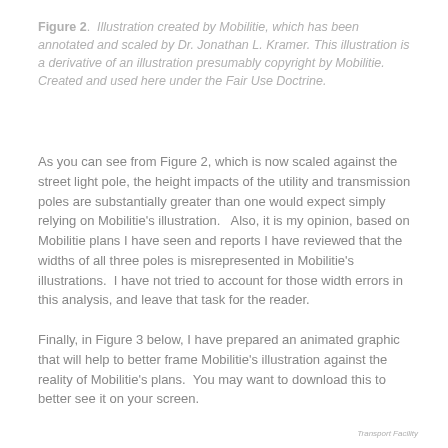Figure 2. Illustration created by Mobilitie, which has been annotated and scaled by Dr. Jonathan L. Kramer. This illustration is a derivative of an illustration presumably copyright by Mobilitie. Created and used here under the Fair Use Doctrine.
As you can see from Figure 2, which is now scaled against the street light pole, the height impacts of the utility and transmission poles are substantially greater than one would expect simply relying on Mobilitie's illustration.   Also, it is my opinion, based on Mobilitie plans I have seen and reports I have reviewed that the widths of all three poles is misrepresented in Mobilitie's illustrations.  I have not tried to account for those width errors in this analysis, and leave that task for the reader.
Finally, in Figure 3 below, I have prepared an animated graphic that will help to better frame Mobilitie's illustration against the reality of Mobilitie's plans.  You may want to download this to better see it on your screen.
Transport Facility